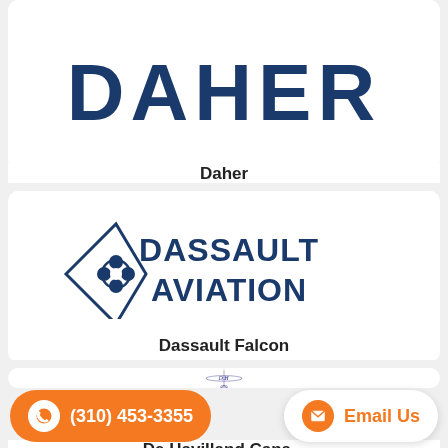[Figure (logo): Daher company logo in bold dark blue text]
Daher
[Figure (logo): Dassault Aviation logo with arrow-and-clover emblem in dark blue]
Dassault Falcon
[Figure (logo): De Havilland Canada logo with DH letters and airplane silhouette in outline style, dark blue/purple]
De Havilland Cana...